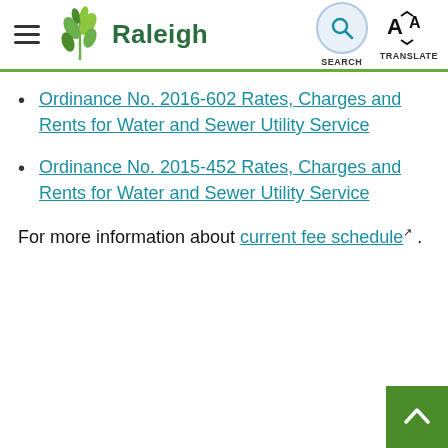Raleigh — Search | Translate
Ordinance No. 2016-602 Rates, Charges and Rents for Water and Sewer Utility Service
Ordinance No. 2015-452 Rates, Charges and Rents for Water and Sewer Utility Service
For more information about current fee schedule .